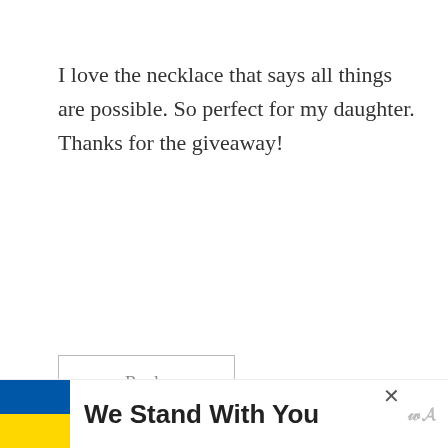I love the necklace that says all things are possible. So perfect for my daughter. Thanks for the giveaway!
Reply
Beverly @ FlamingoToes.com says:
April 26, 2010 at 12:09 am
I'm following. 🙂
[Figure (infographic): We Stand With You advertisement banner with Ukrainian flag colors (blue and yellow), close button, and media brand logo]
[Figure (infographic): Share button icon (circular) and What's Next panel showing 'One Pot Meals and Easy...' with thumbnail image]